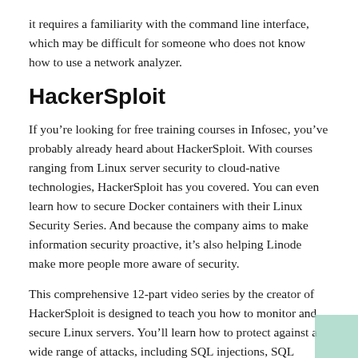it requires a familiarity with the command line interface, which may be difficult for someone who does not know how to use a network analyzer.
HackerSploit
If you’re looking for free training courses in Infosec, you’ve probably already heard about HackerSploit. With courses ranging from Linux server security to cloud-native technologies, HackerSploit has you covered. You can even learn how to secure Docker containers with their Linux Security Series. And because the company aims to make information security proactive, it’s also helping Linode make more people more aware of security.
This comprehensive 12-part video series by the creator of HackerSploit is designed to teach you how to monitor and secure Linux servers. You’ll learn how to protect against a wide range of attacks, including SQL injections, SQL